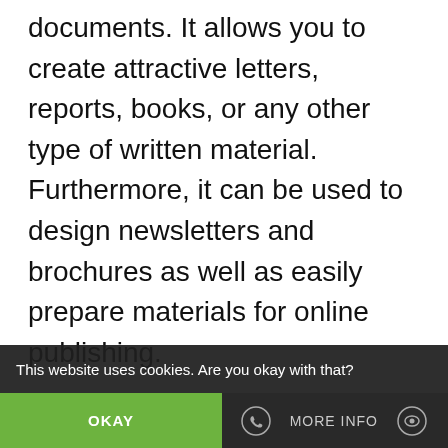documents. It allows you to create attractive letters, reports, books, or any other type of written material. Furthermore, it can be used to design newsletters and brochures as well as easily prepare materials for online publishing.
Microsoft Excel is a powerful spreadsheet application that makes creating graphs and tables simple. You can also use it to analyze data stored in these tables by applying formulas and functions, which helps you
This website uses cookies. Are you okay with that?